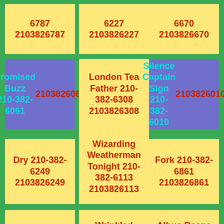6787
2103826787
6227
2103826227
6670
2103826670
Promised Buzz 210-382-6061
2103826061
London Tea Father 210-382-6308
2103826308
Silence Captain Sign 210-382-6010
2103826010
Dry 210-382-6249
2103826249
Wizarding Weatherman Tonight 210-382-6113
2103826113
Fork 210-382-6861
2103826861
Babble 210-382-6927
2103826927
Wrinkled Bottles Nearly 210-382-6727
2103826727
Albus Beans Early 210-382-6408
2103826408